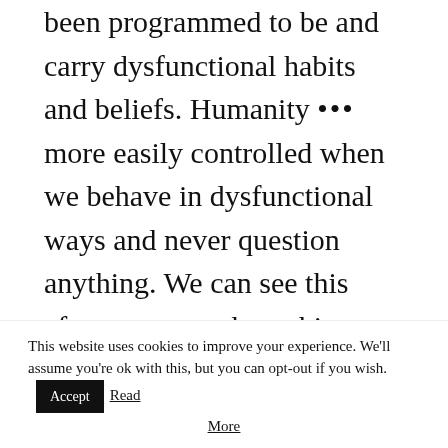been programmed to be and carry dysfunctional habits and beliefs. Humanity ••• more easily controlled when we behave in dysfunctional ways and never question anything. We can see this after any war where things are not to be questioned and truths are hidden, kept secret, lied about, and changed in the history books.
Ri...Co...
This website uses cookies to improve your experience. We'll assume you're ok with this, but you can opt-out if you wish. Accept Read More